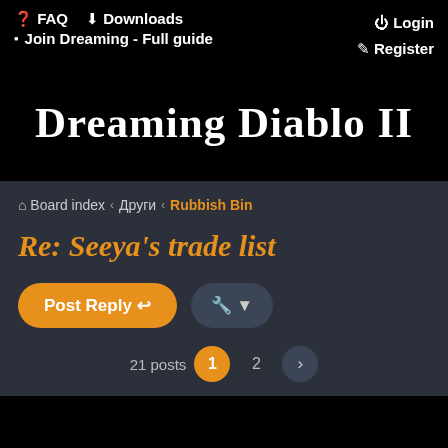❓ FAQ  ⬇ Downloads  ▪ Join Dreaming - Full guide  ⏻ Login  ✎ Register
Dreaming Diablo II
⌂ Board index  ‹  Други  ‹  Rubbish Bin
Re: Seeya's trade list
Post Reply  🔧 ▾  21 posts  1  2  ›